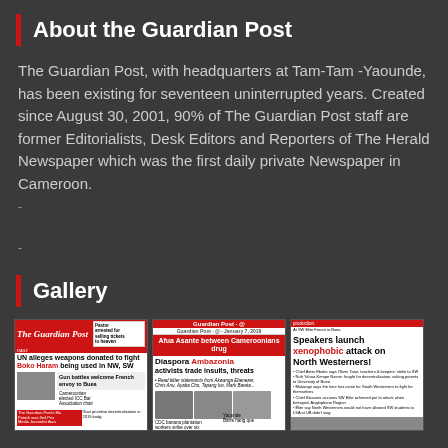About the Guardian Post
The Guardian Post, with headquarters at Tam-Tam -Yaounde, has been existing for seventeen uninterrupted years. Created since August 30, 2001, 90% of The Guardian Post staff are former Editorialists, Desk Editors and Reporters of The Herald Newspaper which was the first daily private Newspaper in Cameroon.
Gallery
[Figure (photo): Three Guardian Post newspaper front pages shown as gallery images]
[Figure (photo): Guardian Post newspaper front page: Diaspora Ambazonia activists trade insults, threats]
[Figure (photo): Guardian Post newspaper front page: Speakers launch xenophobic attack on North Westerners!]